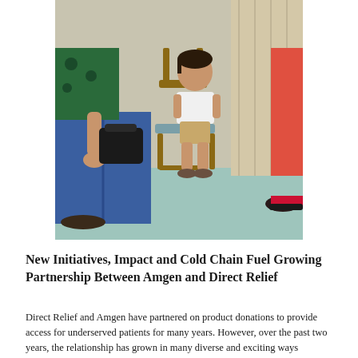[Figure (photo): Photo of people in a medical waiting room. A child in a white t-shirt and khaki shorts sits on a wooden chair looking at something in his hands. An adult in jeans sits to the left holding a black bag. Another person in sandals is visible on the right near a curtain. The floor is light teal/green.]
New Initiatives, Impact and Cold Chain Fuel Growing Partnership Between Amgen and Direct Relief
Direct Relief and Amgen have partnered on product donations to provide access for underserved patients for many years. However, over the past two years, the relationship has grown in many diverse and exciting ways resulting in the greatest number of healthcare providers and underserved patients being supported since the start of the partnership.